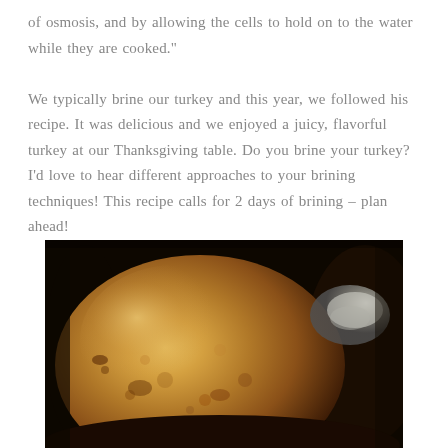of osmosis, and by allowing the cells to hold on to the water while they are cooked."

We typically brine our turkey and this year, we followed his recipe.  It was delicious and we enjoyed a juicy, flavorful turkey at our Thanksgiving table.  Do you brine your turkey?  I'd love to hear different approaches to your brining techniques!  This recipe calls for 2 days of brining – plan ahead!
[Figure (photo): Close-up photograph of a golden-brown roasted turkey, showing the crispy skin with a warm amber-orange color, with a turkey leg visible in the background.]